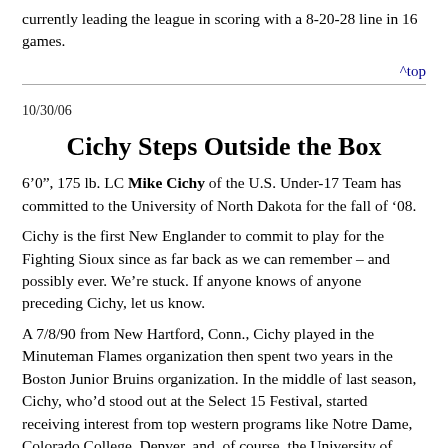currently leading the league in scoring with a 8-20-28 line in 16 games.
^top
10/30/06
Cichy Steps Outside the Box
6‘0”, 175 lb. LC Mike Cichy of the U.S. Under-17 Team has committed to the University of North Dakota for the fall of ‘08.
Cichy is the first New Englander to commit to play for the Fighting Sioux since as far back as we can remember – and possibly ever. We’re stuck. If anyone knows of anyone preceding Cichy, let us know.
A 7/8/90 from New Hartford, Conn., Cichy played in the Minuteman Flames organization then spent two years in the Boston Junior Bruins organization. In the middle of last season, Cichy, who’d stood out at the Select 15 Festival, started receiving interest from top western programs like Notre Dame, Colorado College, Denver, and, of course, the University of North Dakota. Recently,